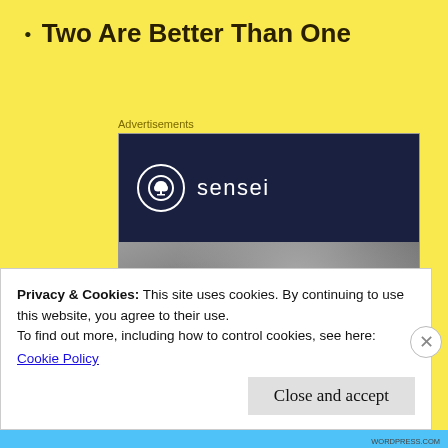Two Are Better Than One
[Figure (screenshot): Advertisement for 'sensei' showing a dark navy header with the sensei logo (a bonsai tree in a white circle) and the word 'sensei' in white, below which is a grey-toned anatomical image with teal curved arrows pointing right.]
Privacy & Cookies: This site uses cookies. By continuing to use this website, you agree to their use.
To find out more, including how to control cookies, see here:
Cookie Policy
Close and accept